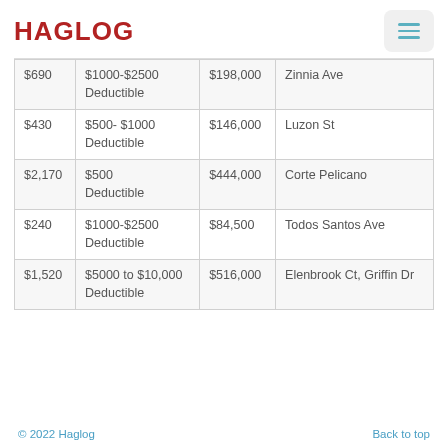HAGLOG
| $690 | $1000-$2500 Deductible | $198,000 | Zinnia Ave |
| $430 | $500- $1000 Deductible | $146,000 | Luzon St |
| $2,170 | $500 Deductible | $444,000 | Corte Pelicano |
| $240 | $1000-$2500 Deductible | $84,500 | Todos Santos Ave |
| $1,520 | $5000 to $10,000 Deductible | $516,000 | Elenbrook Ct, Griffin Dr |
© 2022 Haglog    Back to top